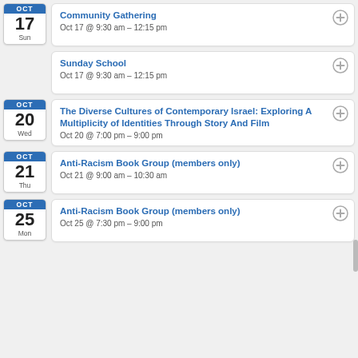Community Gathering
Oct 17 @ 9:30 am – 12:15 pm
Sunday School
Oct 17 @ 9:30 am – 12:15 pm
The Diverse Cultures of Contemporary Israel: Exploring A Multiplicity of Identities Through Story And Film
Oct 20 @ 7:00 pm – 9:00 pm
Anti-Racism Book Group (members only)
Oct 21 @ 9:00 am – 10:30 am
Anti-Racism Book Group (members only)
Oct 25 @ 7:30 pm – 9:00 pm